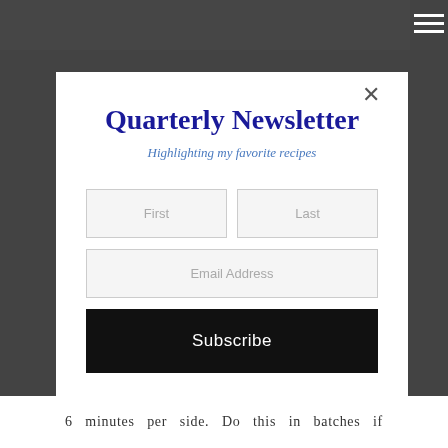Quarterly Newsletter
Highlighting my favorite recipes
First
Last
Email Address
Subscribe
6 minutes per side. Do this in batches if